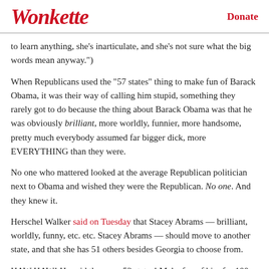Wonkette | Donate
to learn anything, she's inarticulate, and she's not sure what the big words mean anyway.")
When Republicans used the "57 states" thing to make fun of Barack Obama, it was their way of calling him stupid, something they rarely got to do because the thing about Barack Obama was that he was obviously brilliant, more worldly, funnier, more handsome, pretty much everybody assumed far bigger dick, more EVERYTHING than they were.
No one who mattered looked at the average Republican politician next to Obama and wished they were the Republican. No one. And they knew it.
Herschel Walker said on Tuesday that Stacey Abrams — brilliant, worldly, funny, etc. etc. Stacey Abrams — should move to another state, and that she has 51 others besides Georgia to choose from.
HAW HAW! He said there are 52 states! Make fun of him for 100 years!